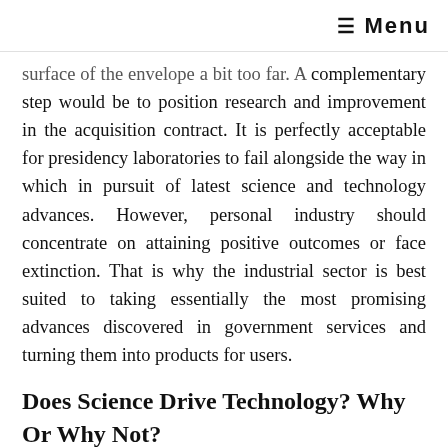≡ Menu
surface of the envelope a bit too far. A complementary step would be to position research and improvement in the acquisition contract. It is perfectly acceptable for presidency laboratories to fail alongside the way in which in pursuit of latest science and technology advances. However, personal industry should concentrate on attaining positive outcomes or face extinction. That is why the industrial sector is best suited to taking essentially the most promising advances discovered in government services and turning them into products for users.
Does Science Drive Technology? Why Or Why Not?
This might be anything from designing a surprising